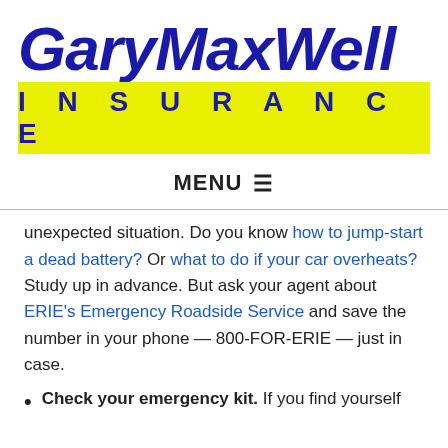[Figure (logo): GaryMaxwell Insurance logo — 'GaryMaxwell' in large bold dark blue italic text, 'INSURANCE' in bold dark blue letters on a bright yellow/green background bar]
MENU ☰
unexpected situation. Do you know how to jump-start a dead battery? Or what to do if your car overheats? Study up in advance. But ask your agent about ERIE's Emergency Roadside Service and save the number in your phone — 800-FOR-ERIE — just in case.
Check your emergency kit. If you find yourself